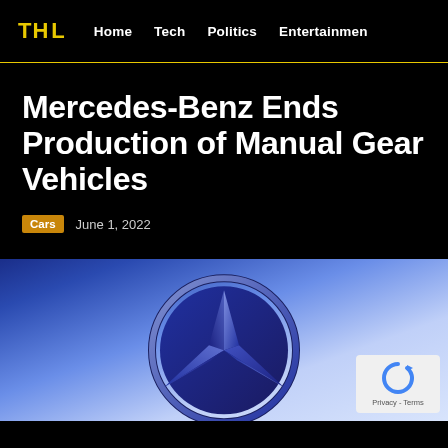THL  Home  Tech  Politics  Entertainmen
Mercedes-Benz Ends Production of Manual Gear Vehicles
Cars  June 1, 2022
[Figure (photo): Mercedes-Benz logo/star on a blue gradient background]